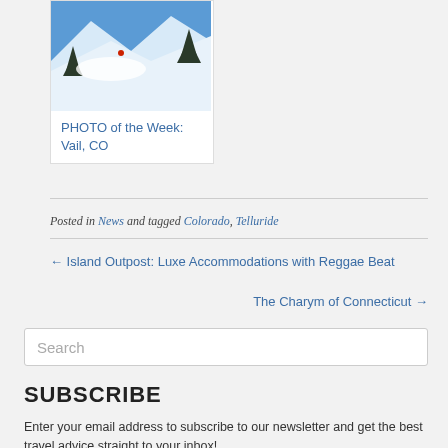[Figure (photo): Ski slope photo showing snowy mountain with skier and pine trees under blue sky, labeled PHOTO of the Week: Vail, CO]
PHOTO of the Week: Vail, CO
Posted in News and tagged Colorado, Telluride
← Island Outpost: Luxe Accommodations with Reggae Beat
The Charym of Connecticut →
Search
SUBSCRIBE
Enter your email address to subscribe to our newsletter and get the best travel advice straight to your inbox!